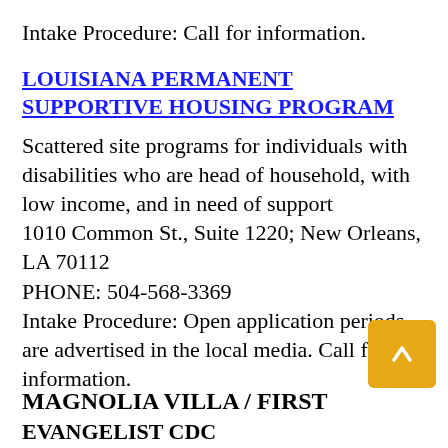Intake Procedure: Call for information.
LOUISIANA PERMANENT SUPPORTIVE HOUSING PROGRAM
Scattered site programs for individuals with disabilities who are head of household, with low income, and in need of support
1010 Common St., Suite 1220; New Orleans, LA 70112
PHONE: 504-568-3369
Intake Procedure: Open application periods are advertised in the local media. Call for information.
MAGNOLIA VILLA / FIRST EVANGELIST CDC